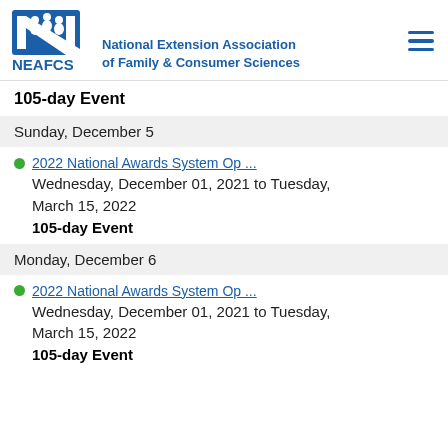[Figure (logo): NEAFCS logo - blue stylized N with people figures, text 'NEAFCS' below]
National Extension Association of Family & Consumer Sciences
105-day Event
Sunday, December 5
2022 National Awards System Op ...
Wednesday, December 01, 2021 to Tuesday, March 15, 2022
105-day Event
Monday, December 6
2022 National Awards System Op ...
Wednesday, December 01, 2021 to Tuesday, March 15, 2022
105-day Event